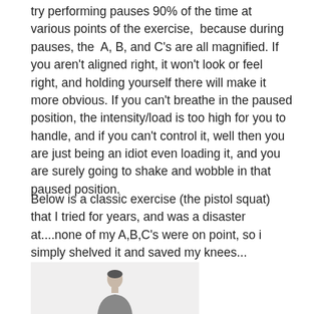try performing pauses 90% of the time at various points of the exercise, because during pauses, the A, B, and C's are all magnified. If you aren't aligned right, it won't look or feel right, and holding yourself there will make it more obvious. If you can't breathe in the paused position, the intensity/load is too high for you to handle, and if you can't control it, well then you are just being an idiot even loading it, and you are surely going to shake and wobble in that paused position.
Below is a classic exercise (the pistol squat) that I tried for years, and was a disaster at....none of my A,B,C's were on point, so i simply shelved it and saved my knees...
[Figure (photo): Partial photo showing a person (head and shoulders visible at bottom) performing or demonstrating an exercise, on a light gray background.]